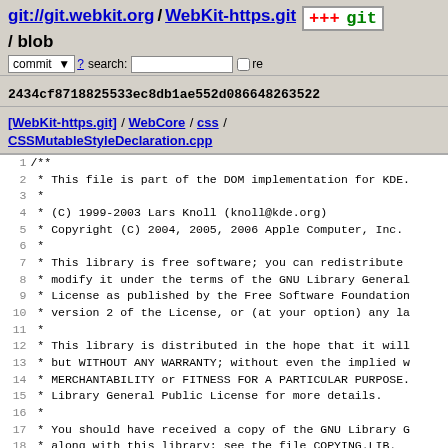git://git.webkit.org / WebKit-https.git / blob
2434cf8718825533ec8db1ae552d086648263522
[WebKit-https.git] / WebCore / css / CSSMutableStyleDeclaration.cpp
1  /**
2   * This file is part of the DOM implementation for KDE.
3   *
4   * (C) 1999-2003 Lars Knoll (knoll@kde.org)
5   * Copyright (C) 2004, 2005, 2006 Apple Computer, Inc.
6   *
7   * This library is free software; you can redistribute
8   * modify it under the terms of the GNU Library General
9   * License as published by the Free Software Foundation
10  * version 2 of the License, or (at your option) any la
11  *
12  * This library is distributed in the hope that it will
13  * but WITHOUT ANY WARRANTY; without even the implied w
14  * MERCHANTABILITY or FITNESS FOR A PARTICULAR PURPOSE.
15  * Library General Public License for more details.
16  *
17  * You should have received a copy of the GNU Library G
18  * along with this library; see the file COPYING.LIB.
19  * the Free Software Foundation, Inc., 51 Franklin Stre
20  *